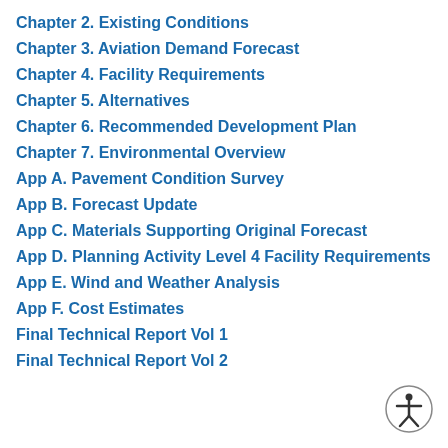Chapter 2. Existing Conditions
Chapter 3. Aviation Demand Forecast
Chapter 4. Facility Requirements
Chapter 5. Alternatives
Chapter 6. Recommended Development Plan
Chapter 7. Environmental Overview
App A. Pavement Condition Survey
App B. Forecast Update
App C. Materials Supporting Original Forecast
App D. Planning Activity Level 4 Facility Requirements
App E. Wind and Weather Analysis
App F. Cost Estimates
Final Technical Report Vol 1
Final Technical Report Vol 2
[Figure (illustration): Accessibility icon showing a person with arms outstretched in a circle]